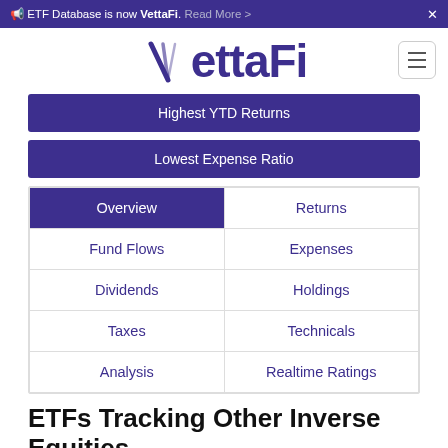ETF Database is now VettaFi. Read More >
[Figure (logo): VettaFi logo with stylized V and bold text]
Highest YTD Returns
Lowest Expense Ratio
| Overview | Returns |
| Fund Flows | Expenses |
| Dividends | Holdings |
| Taxes | Technicals |
| Analysis | Realtime Ratings |
ETFs Tracking Other Inverse Equities